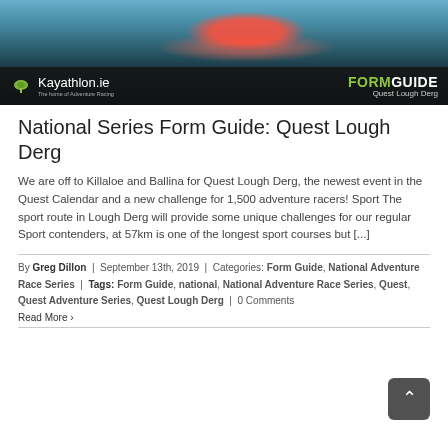[Figure (photo): Hero image of a kayaker in red gear paddling through white water rapids, with Kayathlon.ie logo and 'FORM GUIDE Quest Lough Derg' overlay at the bottom]
National Series Form Guide: Quest Lough Derg
We are off to Killaloe and Ballina for Quest Lough Derg, the newest event in the Quest Calendar and a new challenge for 1,500 adventure racers! Sport The sport route in Lough Derg will provide some unique challenges for our regular Sport contenders, at 57km is one of the longest sport courses but [...]
By Greg Dillon | September 13th, 2019 | Categories: Form Guide, National Adventure Race Series | Tags: Form Guide, national, National Adventure Race Series, Quest, Quest Adventure Series, Quest Lough Derg | 0 Comments
Read More >